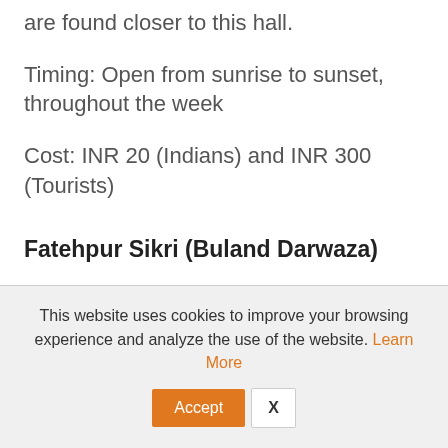are found closer to this hall.
Timing: Open from sunrise to sunset, throughout the week
Cost: INR 20 (Indians) and INR 300 (Tourists)
Fatehpur Sikri (Buland Darwaza)
This website uses cookies to improve your browsing experience and analyze the use of the website. Learn More
Accept X